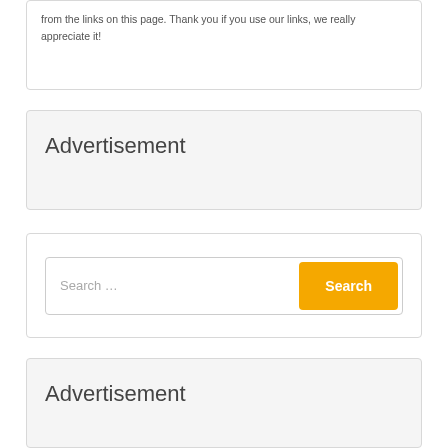from the links on this page. Thank you if you use our links, we really appreciate it!
Advertisement
[Figure (other): Search widget with text input field placeholder 'Search …' and orange 'Search' button]
Advertisement